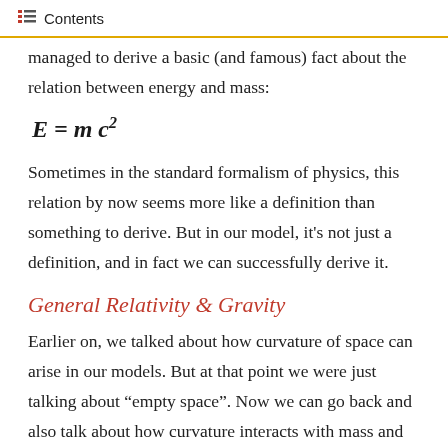Contents
managed to derive a basic (and famous) fact about the relation between energy and mass:
Sometimes in the standard formalism of physics, this relation by now seems more like a definition than something to derive. But in our model, it’s not just a definition, and in fact we can successfully derive it.
General Relativity & Gravity
Earlier on, we talked about how curvature of space can arise in our models. But at that point we were just talking about “empty space”. Now we can go back and also talk about how curvature interacts with mass and energy in space.